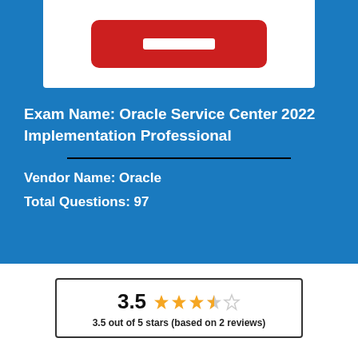[Figure (logo): Oracle logo - red rounded rectangle with white bar, on white background within blue section]
Exam Name: Oracle Service Center 2022 Implementation Professional
Vendor Name: Oracle
Total Questions: 97
3.5 out of 5 stars (based on 2 reviews)